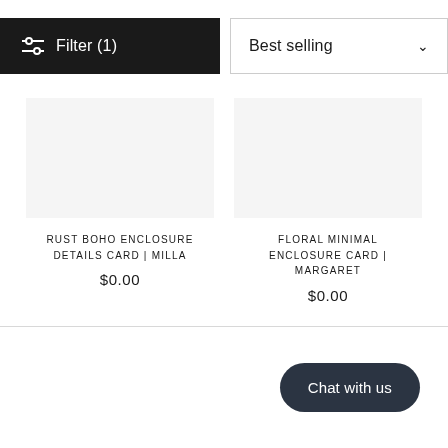Filter (1)
Best selling
RUST BOHO ENCLOSURE DETAILS CARD | MILLA
$0.00
FLORAL MINIMAL ENCLOSURE CARD | MARGARET
$0.00
Chat with us